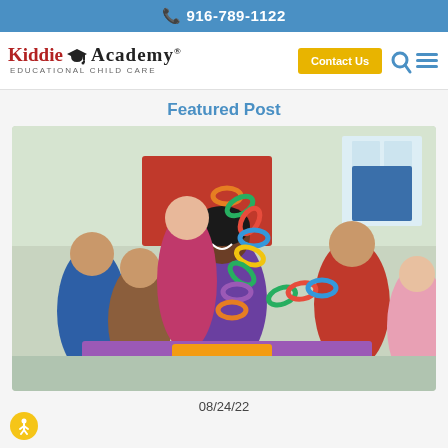916-789-1122
[Figure (logo): Kiddie Academy Educational Child Care logo with graduation cap icon]
Featured Post
[Figure (photo): A teacher and children in a classroom holding a colorful paper chain together, smiling and engaged in a craft activity.]
08/24/22